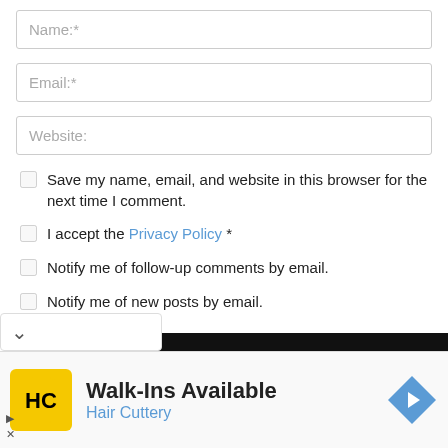Name:*
Email:*
Website:
Save my name, email, and website in this browser for the next time I comment.
I accept the Privacy Policy *
Notify me of follow-up comments by email.
Notify me of new posts by email.
[Figure (screenshot): Submit button area with chevron down and black bar]
[Figure (infographic): Hair Cuttery advertisement banner with yellow HC logo, Walk-Ins Available text, and blue navigation arrow icon]